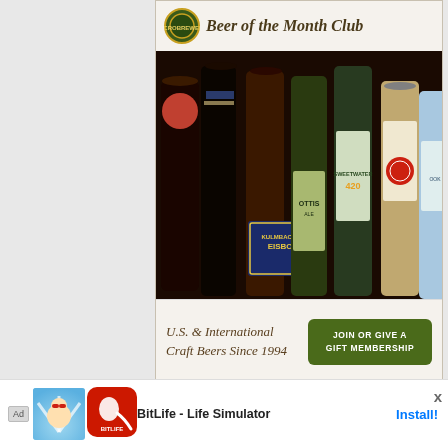[Figure (photo): Beer of the Month Club advertisement showing multiple craft beer bottles with text 'U.S. & International Craft Beers Since 1994' and a green 'JOIN OR GIVE A GIFT MEMBERSHIP' button]
[Figure (photo): Blue advertisement banner with text 'REPLENISH. REPLACE. REFRESH.' and 'Restock your home with deals on products you use every day. Shop weekly deals >' with a spray bottle image]
[Figure (photo): Bottom mobile ad bar for BitLife - Life Simulator app with Install button and an X close button]